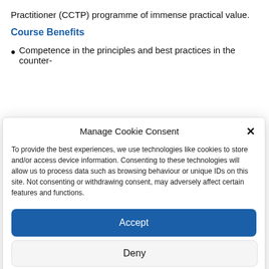Practitioner (CCTP) programme of immense practical value.
Course Benefits
Competence in the principles and best practices in the counter-
Manage Cookie Consent
To provide the best experiences, we use technologies like cookies to store and/or access device information. Consenting to these technologies will allow us to process data such as browsing behaviour or unique IDs on this site. Not consenting or withdrawing consent, may adversely affect certain features and functions.
Accept
Deny
View preferences
Privacy Statement